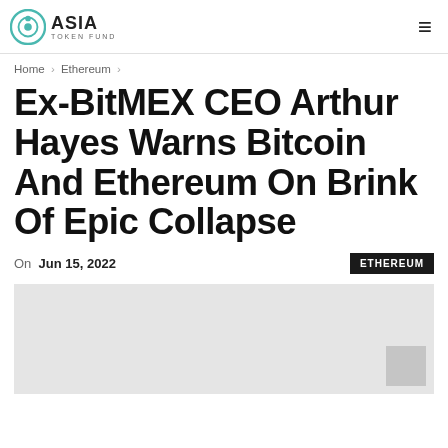ASIA TOKEN FUND
Home › Ethereum ›
Ex-BitMEX CEO Arthur Hayes Warns Bitcoin And Ethereum On Brink Of Epic Collapse
On Jun 15, 2022  ETHEREUM
[Figure (photo): Article hero image placeholder (light gray background with a small gray logo watermark in the bottom right corner)]